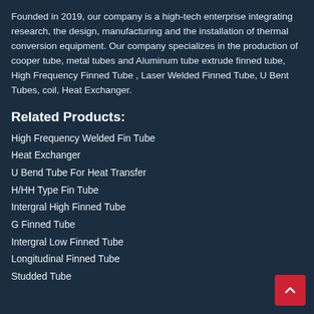Founded in 2019, our company is a high-tech enterprise integrating research, the design, manufacturing and the installation of thermal conversion equipment. Our company specializes in the production of cooper tube, metal tubes and Aluminum tube extrude finned tube, High Frequency Finned Tube , Laser Welded Finned Tube, U Bent Tubes, coil, Heat Exchanger.
Related Products:
High Frequency Welded Fin Tube
Heat Exchanger
U Bend Tube For Heat Transfer
H/HH Type Fin Tube
Intergral High Finned Tube
G Finned Tube
Intergral Low Finned Tube
Longitudinal Finned Tube
Studded Tube